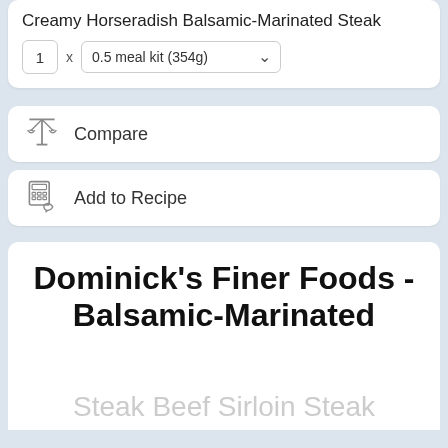Creamy Horseradish Balsamic-Marinated Steak
1 x 0.5 meal kit (354g)
Compare
Add to Recipe
Dominick's Finer Foods - Balsamic-Marinated
Steak Beef Sirloin Steak